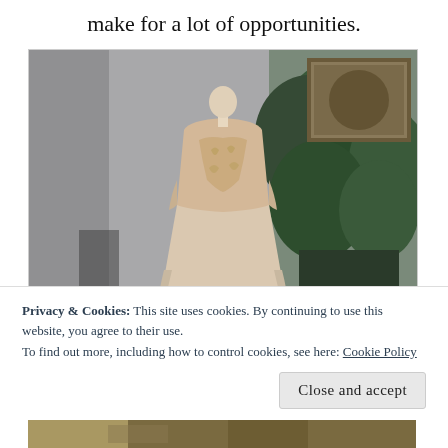make for a lot of opportunities.
[Figure (photo): A wedding dress on a mannequin in a room with a large plant and a framed painting on the wall. The dress is a strapless ball gown in champagne/blush satin with embroidered bodice details.]
Privacy & Cookies: This site uses cookies. By continuing to use this website, you agree to their use.
To find out more, including how to control cookies, see here: Cookie Policy
Close and accept